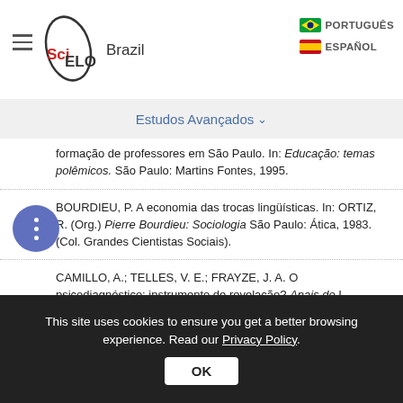[Figure (logo): SciELO Brazil logo with hamburger menu icon and language selectors (PORTUGUÊS, ESPAÑOL)]
Estudos Avançados ∨
formação de professores em São Paulo. In: Educação: temas polêmicos. São Paulo: Martins Fontes, 1995.
BOURDIEU, P. A economia das trocas lingüísticas. In: ORTIZ, R. (Org.) Pierre Bourdieu: Sociologia São Paulo: Ática, 1983. (Col. Grandes Cientistas Sociais).
CAMILLO, A.; TELLES, V. E.; FRAYZE, J. A. O psicodiagnóstico: instrumento de revelação? Anais do I CONPISC I Congresso de Psicologia. São Paulo, 1989.
This site uses cookies to ensure you get a better browsing experience. Read our Privacy Policy.